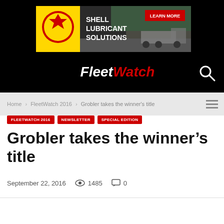[Figure (illustration): Shell Lubricant Solutions advertisement banner with Shell logo and truck on highway]
[Figure (logo): FleetWatch logo in white and red italic text on black background]
Home > FleetWatch 2016 > Grobler takes the winner's title
FLEETWATCH 2016
NEWSLETTER
SPECIAL EDITION
Grobler takes the winner's title
September 22, 2016   1485   0